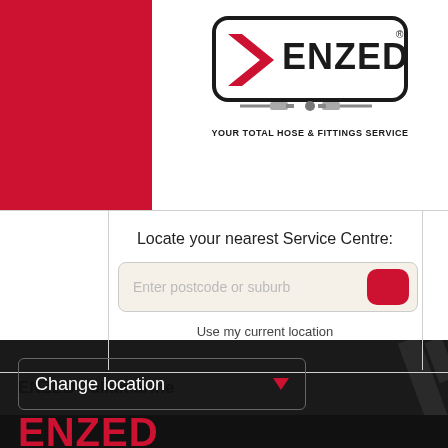[Figure (logo): ENZED logo — rounded rectangle border with ENZED text and hose/fittings graphic below, tagline: YOUR TOTAL HOSE & FITTINGS SERVICE]
Locate your nearest Service Centre:
Enter postcode or suburb
Use my current location
ENZED Tullamarine
Change location
ENZED